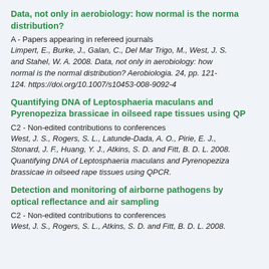Data, not only in aerobiology: how normal is the normal distribution?
A - Papers appearing in refereed journals
Limpert, E., Burke, J., Galan, C., Del Mar Trigo, M., West, J. S. and Stahel, W. A. 2008. Data, not only in aerobiology: how normal is the normal distribution? Aerobiologia. 24, pp. 121-124. https://doi.org/10.1007/s10453-008-9092-4
Quantifying DNA of Leptosphaeria maculans and Pyrenopeziza brassicae in oilseed rape tissues using QPCR
C2 - Non-edited contributions to conferences
West, J. S., Rogers, S. L., Latunde-Dada, A. O., Pirie, E. J., Stonard, J. F., Huang, Y. J., Atkins, S. D. and Fitt, B. D. L. 2008. Quantifying DNA of Leptosphaeria maculans and Pyrenopeziza brassicae in oilseed rape tissues using QPCR.
Detection and monitoring of airborne pathogens by optical reflectance and air sampling
C2 - Non-edited contributions to conferences
West, J. S., Rogers, S. L., Atkins, S. D. and Fitt, B. D. L. 2008.